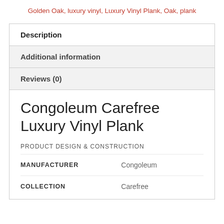Golden Oak, luxury vinyl, Luxury Vinyl Plank, Oak, plank
| Description |
| Additional information |
| Reviews (0) |
Congoleum Carefree Luxury Vinyl Plank
PRODUCT DESIGN & CONSTRUCTION
| MANUFACTURER | Congoleum |
| --- | --- |
| COLLECTION | Carefree |